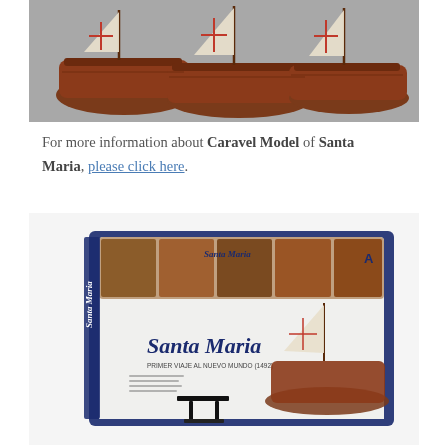[Figure (photo): Photo of three wooden caravel ship models with white sails bearing red crosses, displayed on a gray background.]
For more information about Caravel Model of Santa Maria, please click here.
[Figure (photo): Product box image of the Santa Maria model kit by Artesania Latina, showing a detailed wooden ship model on the box art with the title 'Santa Maria' in blue script and a black display stand accessory.]